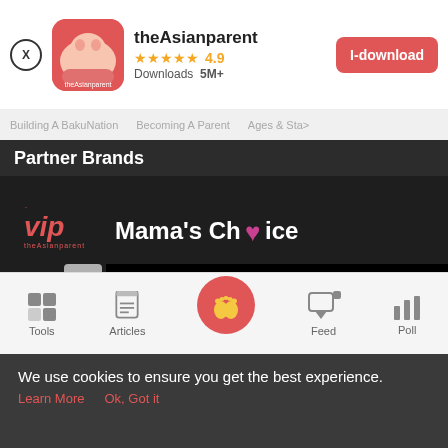[Figure (screenshot): App store banner for theAsianparent app with close button, app icon, name, 4.9 star rating, 5M+ downloads, and I-download button]
Building A BakuNation   Becoming A Parent   Ages & Sta>
Partner Brands
[Figure (logo): VIP logo in red italic text]
[Figure (logo): Mama's Choice logo in white text with pink heart]
ABOUT US  |  TEAM  |  SITEMAP HTML
[Figure (screenshot): Black video player area]
[Figure (screenshot): Cordlife Singapore Umbilical Cord Storage advertisement with OPEN button]
Tools  Articles  Feed  Poll
We use cookies to ensure you get the best experience.
Learn More   Ok, Got it